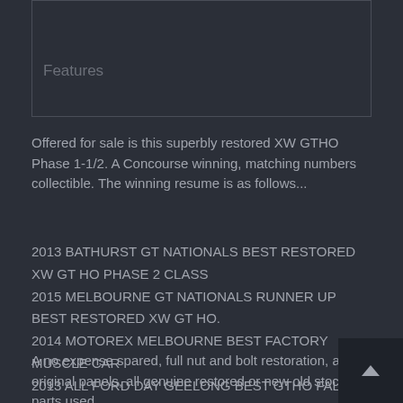Features
Offered for sale is this superbly restored XW GTHO Phase 1-1/2. A Concourse winning, matching numbers collectible. The winning resume is as follows...
2013 BATHURST GT NATIONALS BEST RESTORED XW GT HO PHASE 2 CLASS
2015 MELBOURNE GT NATIONALS RUNNER UP BEST RESTORED XW GT HO.
2014 MOTOREX MELBOURNE BEST FACTORY MUSCLE CAR
2013 ALL FORD DAY GEELONG BEST GTHO FALCON
2014 ALL FORD DAY GEELONG BEST GTHO FALCON
2015 ALL FORD DAY GEELONG BEST GTHO FALCON
2014 GASOLINE MELBOURNE RUNNER UP
A no expense spared, full nut and bolt restoration, all original panels, all genuine restored or new old stock parts used.